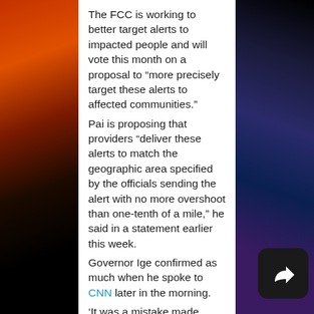The FCC is working to better target alerts to impacted people and will vote this month on a proposal to “more precisely target these alerts to affected communities.”
Pai is proposing that providers “deliver these alerts to match the geographic area specified by the officials sending the alert with no more overshoot than one-tenth of a mile,” he said in a statement earlier this week.
Governor Ige confirmed as much when he spoke to CNN later in the morning.
‘It was a mistake made during a standard procedure at the change over of a shift, and an employee pushed the wrong button,’ he said.
The Civil Defense phone lines were consistently busy on Saturday and the Department of Defense has not responses to questions on the